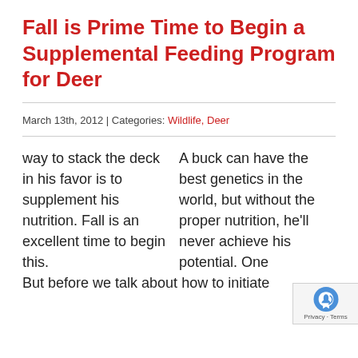Fall is Prime Time to Begin a Supplemental Feeding Program for Deer
March 13th, 2012 | Categories: Wildlife, Deer
A buck can have the best genetics in the world, but without the proper nutrition, he'll never achieve his potential. One way to stack the deck in his favor is to supplement his nutrition. Fall is an excellent time to begin this. But before we talk about how to initiate a supplemental feeding program, the data